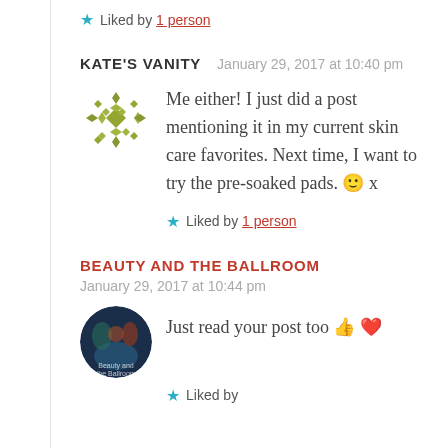★ Liked by 1 person
KATE'S VANITY   January 29, 2017 at 10:40 pm
[Figure (illustration): Green snowflake/quilt pattern avatar icon]
Me either! I just did a post mentioning it in my current skin care favorites. Next time, I want to try the pre-soaked pads. 🙂 x
★ Liked by 1 person
BEAUTY AND THE BALLROOM
January 29, 2017 at 10:44 pm
[Figure (photo): Circular avatar for Beauty and the Ballroom with dark blue/teal background and floral elements]
Just read your post too 👍 ❤
★ Liked by...